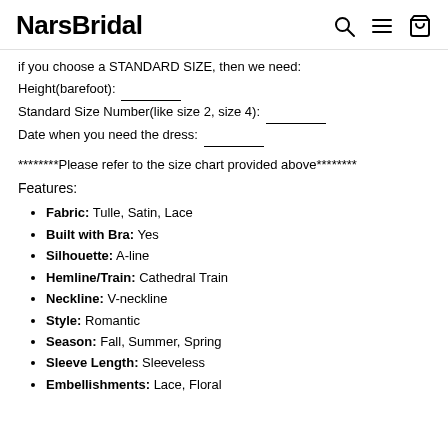NarsBridal
if you choose a STANDARD SIZE, then we need:
Height(barefoot): _______
Standard Size Number(like size 2, size 4): ________
Date when you need the dress: _______
********Please refer to the size chart provided above********
Features:
Fabric: Tulle, Satin, Lace
Built with Bra: Yes
Silhouette: A-line
Hemline/Train: Cathedral Train
Neckline: V-neckline
Style: Romantic
Season: Fall, Summer, Spring
Sleeve Length: Sleeveless
Embellishments: Lace, Floral